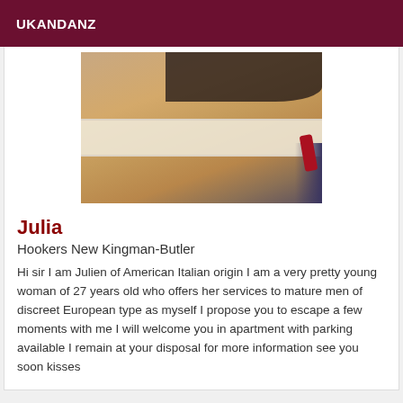UKANDANZ
[Figure (photo): Close-up photo of a woman's legs wearing white lace stocking tops, with a dark outfit visible at the top and a red high heel shoe visible at lower right, against a light background.]
Julia
Hookers New Kingman-Butler
Hi sir I am Julien of American Italian origin I am a very pretty young woman of 27 years old who offers her services to mature men of discreet European type as myself I propose you to escape a few moments with me I will welcome you in apartment with parking available I remain at your disposal for more information see you soon kisses